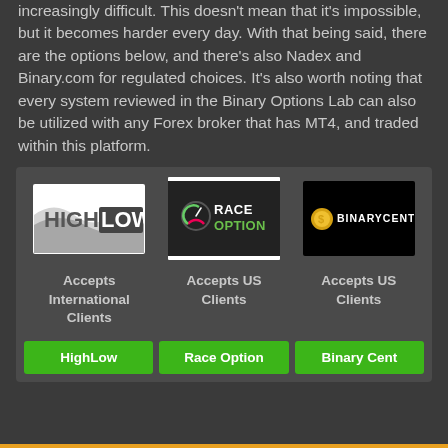increasingly difficult. This doesn't mean that it's impossible, but it becomes harder every day. With that being said, there are the options below, and there's also Nadex and Binary.com for regulated choices. It's also worth noting that every system reviewed in the Binary Options Lab can also be utilized with any Forex broker that has MT4, and traded within this platform.
[Figure (other): Three broker logos: HighLow (white background, HIGH LOW text), RaceOption (dark background with speedometer icon and green RACEOPTION text), BinaryCent (black background with gold coin and BINARYCENT text)]
Accepts International Clients
Accepts US Clients
Accepts US Clients
HighLow
Race Option
Binary Cent